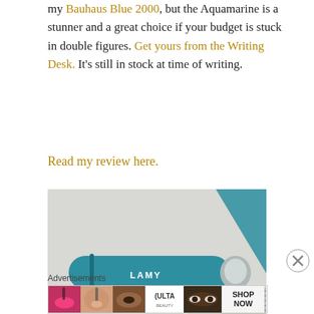my Bauhaus Blue 2000, but the Aquamarine is a stunner and a great choice if your budget is stuck in double figures. Get yours from the Writing Desk. It's still in stock at time of writing.
Read my review here.
[Figure (photo): Close-up photo of a teal/aquamarine LAMY pen resting on striped paper with a teal background element]
Advertisements
[Figure (photo): ULTA beauty advertisement banner with cosmetic images and SHOP NOW call to action]